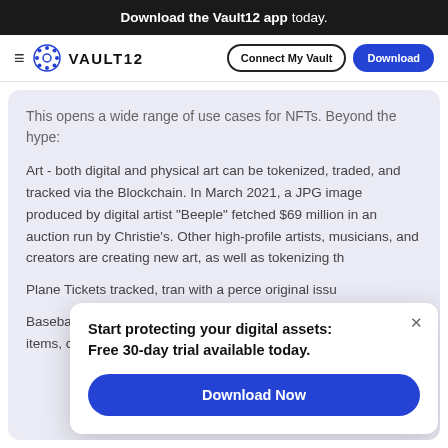Download the Vault12 app today.
VAULT12  Connect My Vault  Download
This opens a wide range of use cases for NFTs. Beyond the hype:
Art - both digital and physical art can be tokenized, traded, and tracked via the Blockchain. In March 2021, a JPG image produced by digital artist "Beeple" fetched $69 million in an auction run by Christie's. Other high-profile artists, musicians, and creators are creating new art, as well as tokenizing th
Plane Tickets tracked, tran with a perce original issu
Baseball cards and other collectibles, including limited edition items, can be registered, traded, and collected
[Figure (screenshot): Popup modal with text 'Start protecting your digital assets: Free 30-day trial available today.' and a blue 'Download Now' button, with an X close button in the top right.]